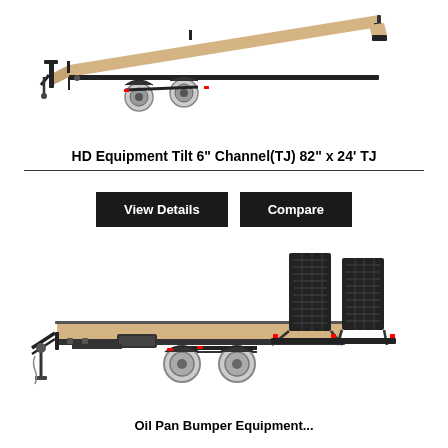[Figure (photo): HD Equipment Tilt trailer with tilt deck, dual rear axle, wood deck flooring, side rails, and ramp lowered to ground level. Black frame trailer photographed from the side.]
HD Equipment Tilt 6" Channel(TJ) 82" x 24' TJ
View Details | Compare
[Figure (photo): Equipment trailer with fold-down diamond plate ramps/ramps folded up vertically at rear, wood deck flooring, dual rear axle with tandem tires, black frame, and tongue with jack stand. Photographed from the side.]
Oil Pan Bumper Equipment...(title cut off)